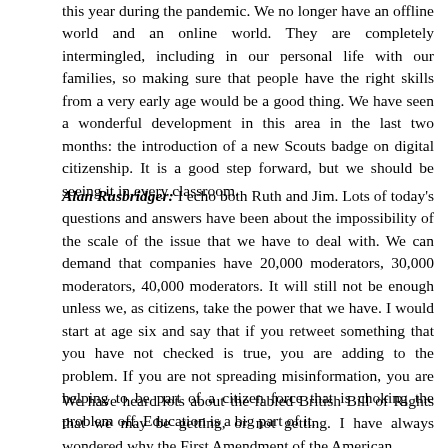this year during the pandemic. We no longer have an offline world and an online world. They are completely intermingled, including in our personal life with our families, so making sure that people have the right skills from a very early age would be a good thing. We have seen a wonderful development in this area in the last two months: the introduction of a new Scouts badge on digital citizenship. It is a good step forward, but we should be seeing it in every classroom.
Alan Rusbridger: I echo both Ruth and Jim. Lots of today's questions and answers have been about the impossibility of the scale of the issue that we have to deal with. We can demand that companies have 20,000 moderators, 30,000 moderators, 40,000 moderators. It will still not be enough unless we, as citizens, take the power that we have. I would start at age six and say that if you retweet something that you have not checked is true, you are adding to the problem. If you are not spreading misinformation, you are helping to be part of a citizen force that is choking the problem off. Education is a big part of it.
We have heard lots about the fabled British Bill of Rights that we may be getting, or not getting. I have always wondered why the First Amendment of the American